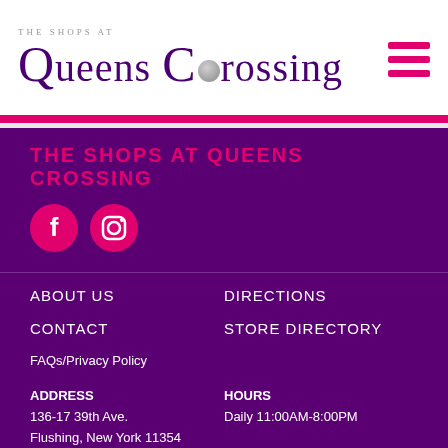[Figure (logo): The Shops at Queens Crossing logo with purple text and pearl icon]
[Figure (infographic): Hamburger menu icon with three pink horizontal bars]
THE SHOPS AT QUEENS CROSSING
[Figure (logo): Pink circular Facebook icon]
[Figure (logo): Pink circular Instagram icon]
ABOUT US
DIRECTIONS
CONTACT
STORE DIRECTORY
FAQs/Privacy Policy
ADDRESS
136-17 39th Ave.
Flushing, New York 11354
HOURS
Daily 11:00AM-8:00PM

Holidays, department stores and restaurant hours may vary.
PHONE
718.713.0880